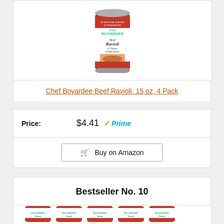[Figure (photo): Chef Boyardee Beef Ravioli in Tomato & Meat Sauce can product image]
Chef Boyardee Beef Ravioli, 15 oz, 4 Pack
Price: $4.41 Prime
Buy on Amazon
Bestseller No. 10
[Figure (photo): Row of five Chef Boyardee Beef Ravioli cans product image]